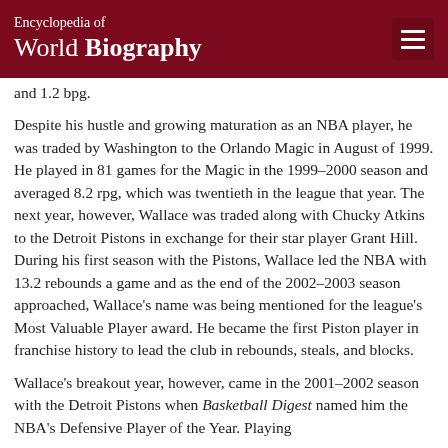Encyclopedia of World Biography
and 1.2 bpg.
Despite his hustle and growing maturation as an NBA player, he was traded by Washington to the Orlando Magic in August of 1999. He played in 81 games for the Magic in the 1999–2000 season and averaged 8.2 rpg, which was twentieth in the league that year. The next year, however, Wallace was traded along with Chucky Atkins to the Detroit Pistons in exchange for their star player Grant Hill. During his first season with the Pistons, Wallace led the NBA with 13.2 rebounds a game and as the end of the 2002–2003 season approached, Wallace's name was being mentioned for the league's Most Valuable Player award. He became the first Piston player in franchise history to lead the club in rebounds, steals, and blocks.
Wallace's breakout year, however, came in the 2001–2002 season with the Detroit Pistons when Basketball Digest named him the NBA's Defensive Player of the Year. Playing